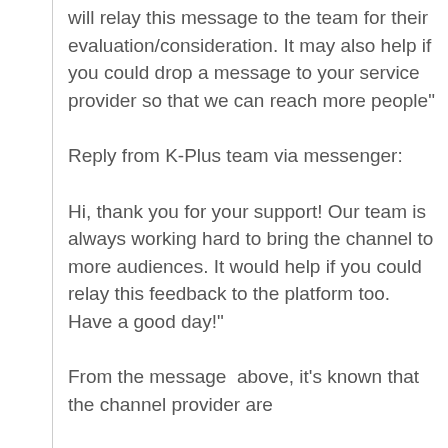will relay this message to the team for their evaluation/consideration. It may also help if you could drop a message to your service provider so that we can reach more people"
Reply from K-Plus team via messenger:
Hi, thank you for your support! Our team is always working hard to bring the channel to more audiences. It would help if you could relay this feedback to the platform too. Have a good day!"
From the message  above, it's known that the channel provider are